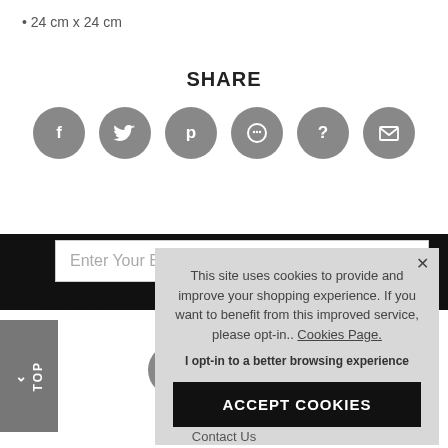24 cm x 24 cm
SHARE
[Figure (infographic): Six gray circular social media share buttons: Facebook (f), Twitter (bird), Pinterest (p), WhatsApp (chat bubble), Unknown (?), Email (envelope)]
[Figure (screenshot): Cookie consent popup overlay with text: This site uses cookies to provide and improve your shopping experience. If you want to benefit from this improved service, please opt-in.. Cookies Page. I opt-in to a better browsing experience. ACCEPT COOKIES button.]
Contact Us